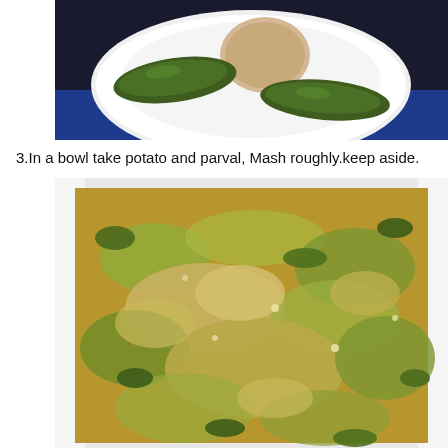[Figure (photo): White scalloped plate on dark blue background with two dark green parval (pointed gourd) and one peeled potato on it, viewed from above.]
3.In a bowl take potato and parval, Mash roughly.keep aside.
[Figure (photo): Close-up of a white bowl containing roughly mashed potato and parval (pointed gourd) mixture showing yellowish and olive-green chunky texture.]